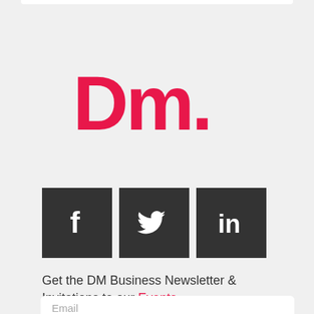[Figure (logo): DM. logo in bold pink/magenta lettering with a large dot]
[Figure (infographic): Three dark square social media icons: Facebook (f), Twitter (bird), LinkedIn (in)]
Get the DM Business Newsletter & Invitations to our Events.
Email